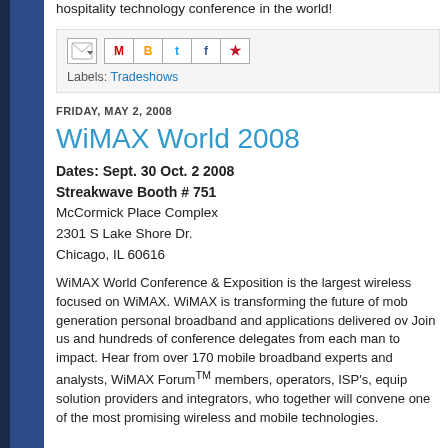hospitality technology conference in the world!
[Figure (screenshot): Social sharing bar with email forward icon and social media buttons (Gmail, Blogger, Twitter, Facebook, Pinterest)]
Labels: Tradeshows
FRIDAY, MAY 2, 2008
WiMAX World 2008
Dates: Sept. 30 Oct. 2 2008
Streakwave Booth # 751
McCormick Place Complex
2301 S Lake Shore Dr.
Chicago, IL 60616
WiMAX World Conference & Exposition is the largest wireless focused on WiMAX. WiMAX is transforming the future of mob generation personal broadband and applications delivered ov Join us and hundreds of conference delegates from each man to impact. Hear from over 170 mobile broadband experts and analysts, WiMAX ForumTM members, operators, ISP's, equip solution providers and integrators, who together will convene one of the most promising wireless and mobile technologies.